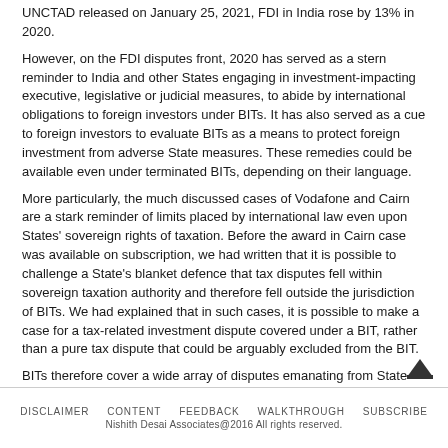UNCTAD released on January 25, 2021, FDI in India rose by 13% in 2020.
However, on the FDI disputes front, 2020 has served as a stern reminder to India and other States engaging in investment-impacting executive, legislative or judicial measures, to abide by international obligations to foreign investors under BITs. It has also served as a cue to foreign investors to evaluate BITs as a means to protect foreign investment from adverse State measures. These remedies could be available even under terminated BITs, depending on their language.
More particularly, the much discussed cases of Vodafone and Cairn are a stark reminder of limits placed by international law even upon States' sovereign rights of taxation. Before the award in Cairn case was available on subscription, we had written that it is possible to challenge a State's blanket defence that tax disputes fell within sovereign taxation authority and therefore fell outside the jurisdiction of BITs. We had explained that in such cases, it is possible to make a case for a tax-related investment dispute covered under a BIT, rather than a pure tax dispute that could be arguably excluded from the BIT.
BITs therefore cover a wide array of disputes emanating from State measures. Initiation of disputes under BITs requires an assessment of pre-initiation issues such as funding arrangements, regulatory framework under
DISCLAIMER   CONTENT   FEEDBACK   WALKTHROUGH   SUBSCRIBE
Nishith Desai Associates@2016 All rights reserved.